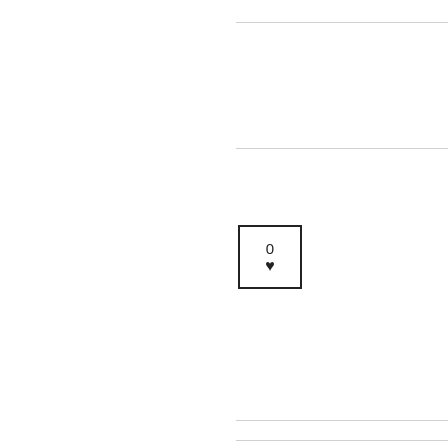[Figure (other): Like/vote button showing 0 with a heart icon, styled as a bordered box]
[Figure (other): Navigation arrow button pointing left, styled as a bordered box]
Newer
Essayon Academics Stress Causes Teenage Depressive disorder Essay